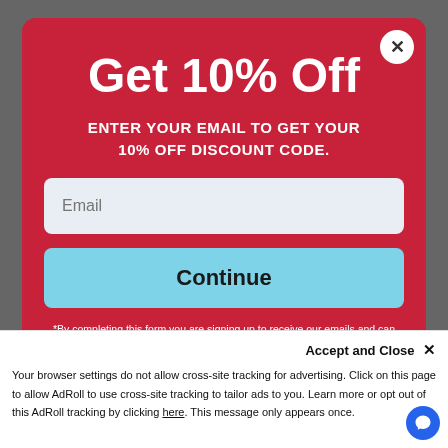Get 10% Off
ENTER YOUR EMAIL TO GET YOUR 10% OFF DISCOUNT CODE.
Email
Continue
*By completing this form you are signing up to receive our emails and can unsubscriber at any time.
Accept and Close ✕
Your browser settings do not allow cross-site tracking for advertising. Click on this page to allow AdRoll to use cross-site tracking to tailor ads to you. Learn more or opt out of this AdRoll tracking by clicking here. This message only appears once.